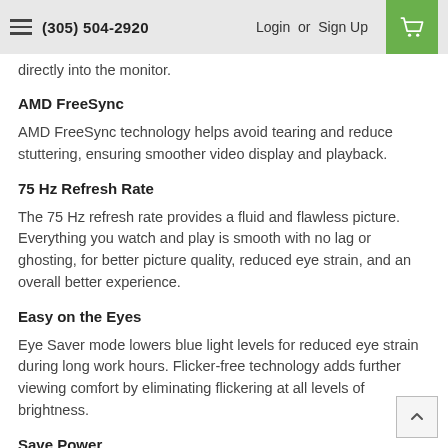(305) 504-2920  Login or Sign Up
directly into the monitor.
AMD FreeSync
AMD FreeSync technology helps avoid tearing and reduce stuttering, ensuring smoother video display and playback.
75 Hz Refresh Rate
The 75 Hz refresh rate provides a fluid and flawless picture. Everything you watch and play is smooth with no lag or ghosting, for better picture quality, reduced eye strain, and an overall better experience.
Easy on the Eyes
Eye Saver mode lowers blue light levels for reduced eye strain during long work hours. Flicker-free technology adds further viewing comfort by eliminating flickering at all levels of brightness.
Save Power